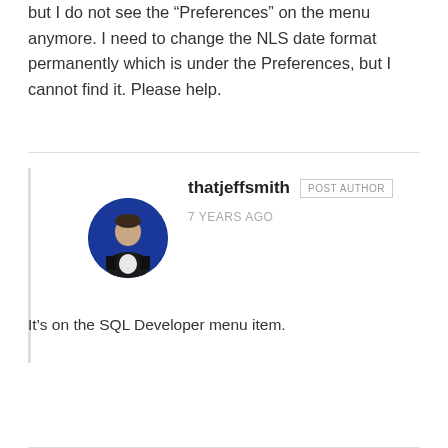but I do not see the “Preferences” on the menu anymore. I need to change the NLS date format permanently which is under the Preferences, but I cannot find it. Please help.
[Figure (photo): Circular avatar photo of a person (thatjeffsmith) against a dark blue background, person appears to be wearing a dark jacket]
thatjeffsmith POST AUTHOR 7 YEARS AGO
It’s on the SQL Developer menu item.